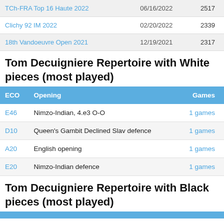| Tournament | Date | Rating |
| --- | --- | --- |
| TCh-FRA Top 16 Haute 2022 | 06/16/2022 | 2517 |
| Clichy 92 IM 2022 | 02/20/2022 | 2339 |
| 18th Vandoeuvre Open 2021 | 12/19/2021 | 2317 |
Tom Decuigniere Repertoire with White pieces (most played)
| ECO | Opening | Games |
| --- | --- | --- |
| E46 | Nimzo-Indian, 4.e3 O-O | 1 games |
| D10 | Queen's Gambit Declined Slav defence | 1 games |
| A20 | English opening | 1 games |
| E20 | Nimzo-Indian defence | 1 games |
Tom Decuigniere Repertoire with Black pieces (most played)